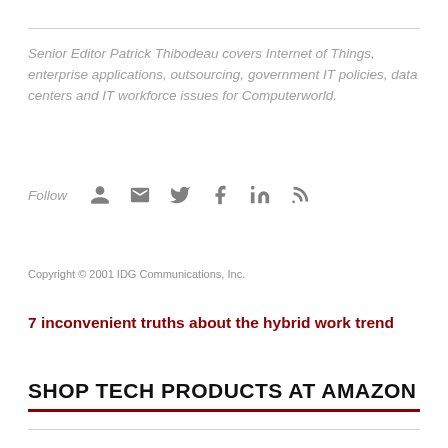Senior Editor Patrick Thibodeau covers Internet of Things, enterprise applications, outsourcing, government IT policies, data centers and IT workforce issues for Computerworld.
Follow
Copyright © 2001 IDG Communications, Inc.
7 inconvenient truths about the hybrid work trend
SHOP TECH PRODUCTS AT AMAZON